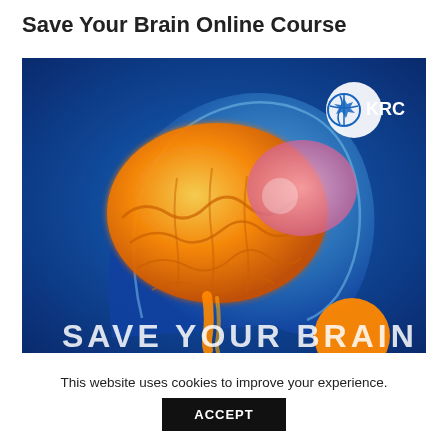Save Your Brain Online Course
[Figure (illustration): 3D medical illustration of a human head profile (translucent blue) with a glowing orange brain visible inside. The back portion of the brain is pink/purple. A KRC logo (puzzle-piece globe with 'KRC' text) appears in the upper right. Partial white text at the bottom reads 'SAVE YOUR BRAIN'.]
This website uses cookies to improve your experience.
ACCEPT